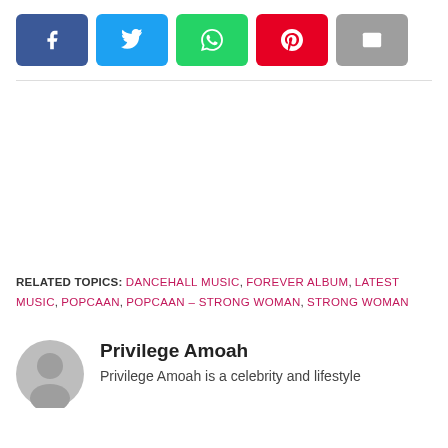[Figure (other): Social share buttons: Facebook (blue), Twitter (cyan), WhatsApp (green), Pinterest (red), Email (grey)]
RELATED TOPICS: DANCEHALL MUSIC, FOREVER ALBUM, LATEST MUSIC, POPCAAN, POPCAAN – STRONG WOMAN, STRONG WOMAN
Privilege Amoah
Privilege Amoah is a celebrity and lifestyle